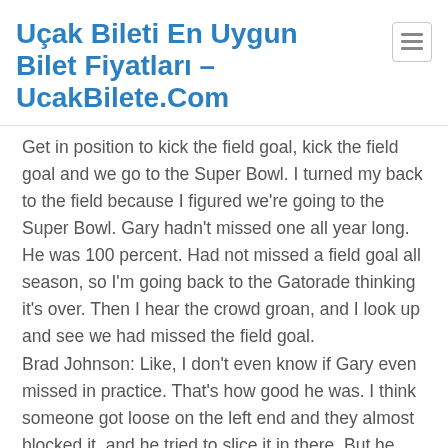Uçak Bileti En Uygun Bilet Fiyatları – UcakBilete.Com
Get in position to kick the field goal, kick the field goal and we go to the Super Bowl. I turned my back to the field because I figured we're going to the Super Bowl. Gary hadn't missed one all year long. He was 100 percent. Had not missed a field goal all season, so I'm going back to the Gatorade thinking it's over. Then I hear the crowd groan, and I look up and see we had missed the field goal.
Brad Johnson: Like, I don't even know if Gary even missed in practice. That's how good he was. I think someone got loose on the left end and they almost blocked it, and he tried to slice it in there. But he took responsibility. He was a man about it, and you know